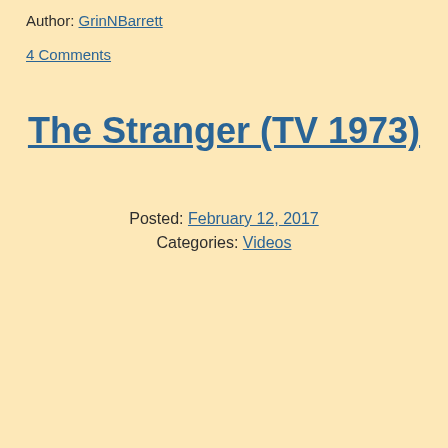Author: GrinNBarrett
4 Comments
The Stranger (TV 1973)
Posted: February 12, 2017
Categories: Videos